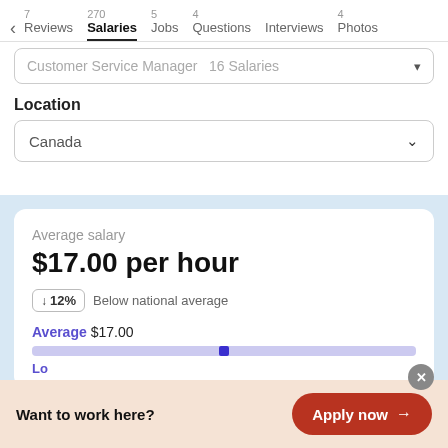7 Reviews  270 Salaries  5 Jobs  4 Questions  Interviews  4 Photos
Customer Service Manager  16 Salaries
Location
Canada
Average salary
$17.00 per hour
↓ 12%  Below national average
Average $17.00
Lo
10 sa
Want to work here?
Apply now →